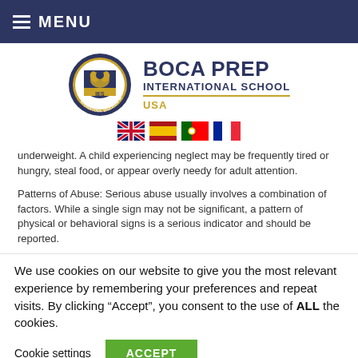MENU
[Figure (logo): Boca Prep International School logo with circular emblem and school name, USA label, and flag icons for UK, Spain, Portugal, and France]
underweight. A child experiencing neglect may be frequently tired or hungry, steal food, or appear overly needy for adult attention.
Patterns of Abuse: Serious abuse usually involves a combination of factors. While a single sign may not be significant, a pattern of physical or behavioral signs is a serious indicator and should be reported.
We use cookies on our website to give you the most relevant experience by remembering your preferences and repeat visits. By clicking "Accept", you consent to the use of ALL the cookies.
Cookie settings | ACCEPT